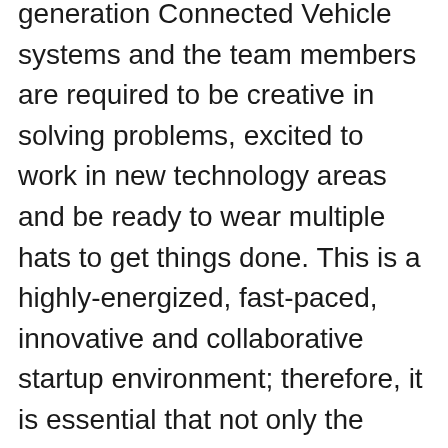generation Connected Vehicle systems and the team members are required to be creative in solving problems, excited to work in new technology areas and be ready to wear multiple hats to get things done. This is a highly-energized, fast-paced, innovative and collaborative startup environment; therefore, it is essential that not only the skillset, but also the personality matches such an environment.
**What you will do: Design and develop software to develop cutting edge solutions Translate user stories and business requirements to technical solutions by building quick prototypes or proof of